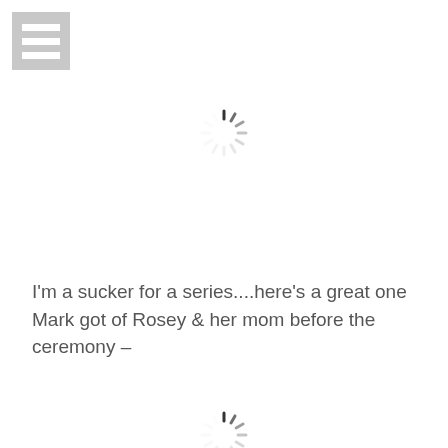[Figure (other): Gray square menu/hamburger icon with three white horizontal bars]
[Figure (other): Loading spinner icon (sunburst/loading animation) centered on page upper half]
I'm a sucker for a series....here's a great one Mark got of Rosey & her mom before the ceremony –
[Figure (other): Loading spinner icon (sunburst/loading animation) centered at bottom of page, partially visible]